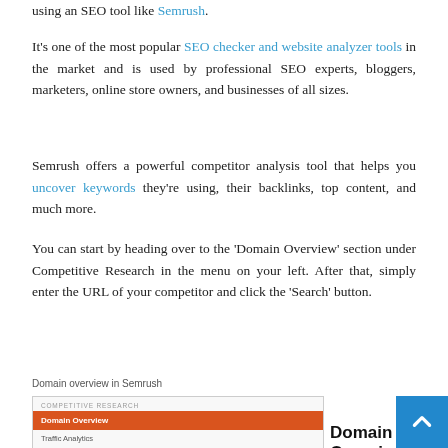using an SEO tool like Semrush.
It's one of the most popular SEO checker and website analyzer tools in the market and is used by professional SEO experts, bloggers, marketers, online store owners, and businesses of all sizes.
Semrush offers a powerful competitor analysis tool that helps you uncover keywords they're using, their backlinks, top content, and much more.
You can start by heading over to the 'Domain Overview' section under Competitive Research in the menu on your left. After that, simply enter the URL of your competitor and click the 'Search' button.
[Figure (screenshot): Domain overview in Semrush - showing the Competitive Research menu with Domain Overview selected, and the Domain Overview heading visible]